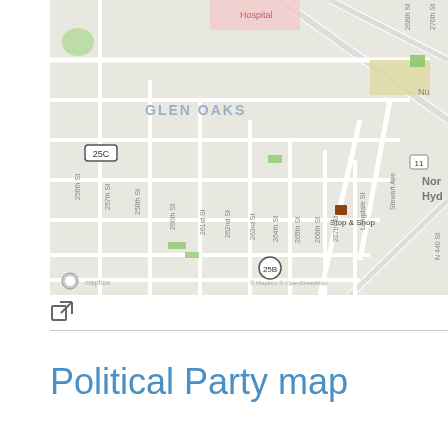[Figure (map): Street map showing Glen Oaks neighborhood with labeled streets including 256th St, 257th St, 258th St, 260th St, 261st St, 262nd St, 263rd St, 264th St, 265th St, 266th St, 267th St, 268th St, 270th St, Langdale St, Stewart Ave, and route markers 25C and 25B. Shows Stop & Shop location. Map attributed to Mapbox and OpenStreetMap.]
[Figure (other): External link icon (square with arrow)]
Political Party map